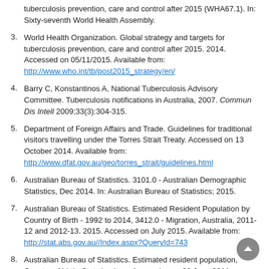tuberculosis prevention, care and control after 2015 (WHA67.1). In: Sixty-seventh World Health Assembly.
3. World Health Organization. Global strategy and targets for tuberculosis prevention, care and control after 2015. 2014. Accessed on 05/11/2015. Available from: http://www.who.int/tb/post2015_strategy/en/
4. Barry C, Konstantinos A, National Tuberculosis Advisory Committee. Tuberculosis notifications in Australia, 2007. Commun Dis Intell 2009;33(3):304-315.
5. Department of Foreign Affairs and Trade. Guidelines for traditional visitors travelling under the Torres Strait Treaty. Accessed on 13 October 2014. Available from: http://www.dfat.gov.au/geo/torres_strait/guidelines.html
6. Australian Bureau of Statistics. 3101.0 - Australian Demographic Statistics, Dec 2014. In: Australian Bureau of Statistics; 2015.
7. Australian Bureau of Statistics. Estimated Resident Population by Country of Birth - 1992 to 2014, 3412.0 - Migration, Australia, 2011-12 and 2012-13. 2015. Accessed on July 2015. Available from: http://stat.abs.gov.au//Index.aspx?QueryId=743
8. Australian Bureau of Statistics. Estimated resident population, Country of birth, State/territory, Age and sex - 30 June 2011,